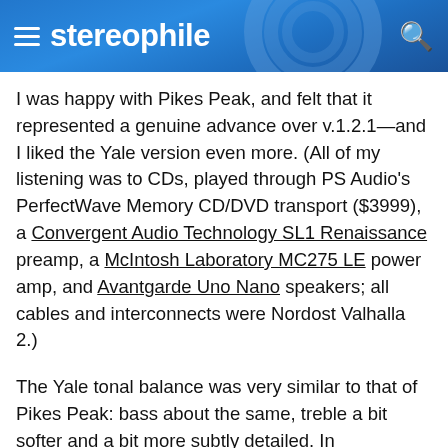stereophile
I was happy with Pikes Peak, and felt that it represented a genuine advance over v.1.2.1—and I liked the Yale version even more. (All of my listening was to CDs, played through PS Audio's PerfectWave Memory CD/DVD transport ($3999), a Convergent Audio Technology SL1 Renaissance preamp, a McIntosh Laboratory MC275 LE power amp, and Avantgarde Uno Nano speakers; all cables and interconnects were Nordost Valhalla 2.)
The Yale tonal balance was very similar to that of Pikes Peak: bass about the same, treble a bit softer and a bit more subtly detailed. In comparison, Pikes Peak was a bit brighter, more forward. In my review